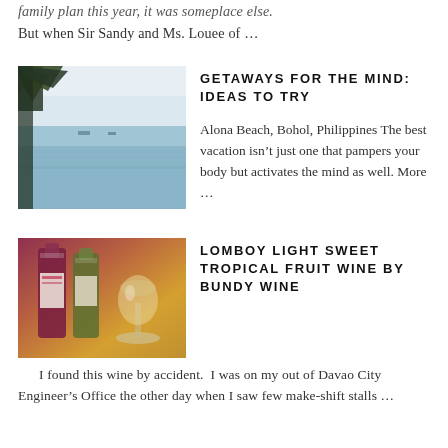family plan this year, it was someplace else. But when Sir Sandy and Ms. Louee of ...
[Figure (photo): Beach photo with palm tree silhouette and calm sea water, sky in background - Alona Beach, Bohol, Philippines]
GETAWAYS FOR THE MIND: IDEAS TO TRY
Alona Beach, Bohol, Philippines The best vacation isn't just one that pampers your body but activates the mind as well. More ...
[Figure (photo): Photo of wine bottles and a glass of white wine on a table]
LOMBOY LIGHT SWEET TROPICAL FRUIT WINE BY BUNDY WINE
I found this wine by accident.  I was on my out of Davao City Engineer's Office the other day when I saw few make-shift stalls ...
BLOG ARCHIVE
BACK TO TOP
March 2010 (17)